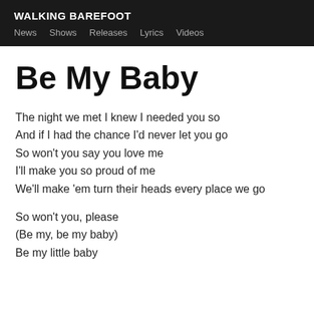WALKING BAREFOOT
News  Shows  Releases  Lyrics  Videos
Be My Baby
The night we met I knew I needed you so
And if I had the chance I'd never let you go
So won't you say you love me
I'll make you so proud of me
We'll make 'em turn their heads every place we go
So won't you, please
(Be my, be my baby)
Be my little baby